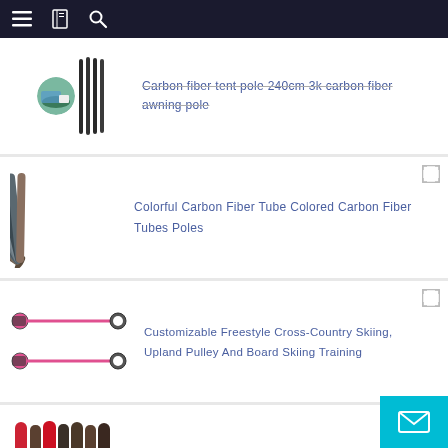Navigation bar with menu, bookmark, and search icons
[Figure (photo): Carbon fiber tent poles - thin black vertical rods bundled together, with a small circular thumbnail of an outdoor scene on the left]
Carbon fiber tent pole 240cm 3k carbon fiber awning pole
[Figure (photo): Multiple colorful carbon fiber tubes arranged in a fan/spread pattern, showing dark metallic finish]
Colorful Carbon Fiber Tube Colored Carbon Fiber Tubes Poles
[Figure (photo): Two pink and black ski training poles with circular handles on both ends, shown horizontally]
Customizable Freestyle Cross-Country Skiing, Upland Pulley And Board Skiing Training
[Figure (photo): Bundle of carbon fiber tubes - red and dark grey/black colored poles arranged together]
China colored carbon fiber tube custom 18mm 20mm 26mm 3k Carbon fiber poles